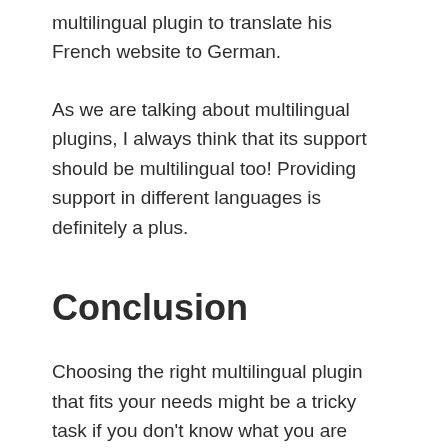multilingual plugin to translate his French website to German.
As we are talking about multilingual plugins, I always think that its support should be multilingual too! Providing support in different languages is definitely a plus.
Conclusion
Choosing the right multilingual plugin that fits your needs might be a tricky task if you don't know what you are looking for. In this article, we have summarized the main points you need to check before